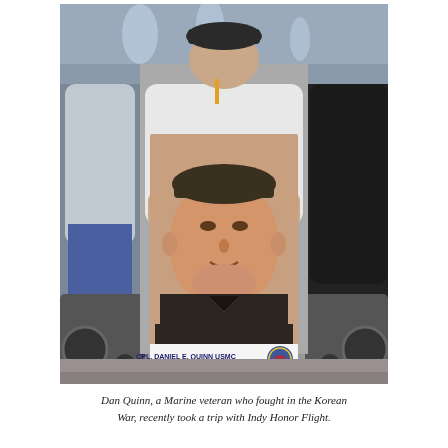[Figure (photo): An elderly veteran in a wheelchair holds up a large poster-sized photograph of a young Marine. The poster reads 'CPL. DANIEL E. QUINN USMC / KOREA-1ST MARINES, CHOSIN RESERVOIR'. Two other people in wheelchairs flank him. They are outdoors near a fountain.]
Dan Quinn, a Marine veteran who fought in the Korean War, recently took a trip with Indy Honor Flight.